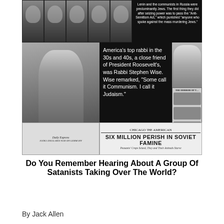[Figure (photo): A collage of historical images and newspaper clippings with antisemitic conspiracy content. Top row shows portraits of men. Top right has text about Lenin and communists in Russia. Middle shows a historical figure photo, a text block quoting Rabbi Stephen Wise, a black and white photo of a man, a Daily Express newspaper clipping, a Chicago American newspaper front page with headline 'SIX MILLION PERISH IN SOVIET FAMINE', and montage of horror newspaper pages.]
Do You Remember Hearing About A Group Of Satanists Taking Over The World?
By Jack Allen